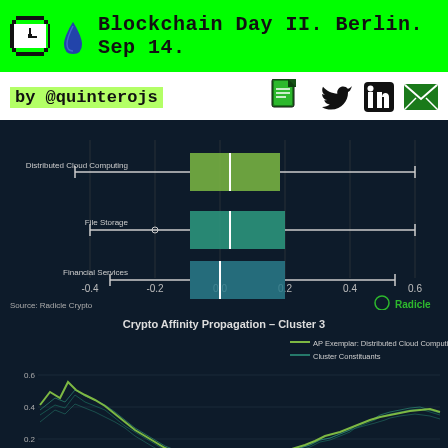Blockchain Day II. Berlin. Sep 14.
by @quinterojs
[Figure (continuous-plot): Box plot showing Crypto Affinity scores for three categories: Distributed Cloud Computing, File Storage, and Financial Services. X-axis ranges from -0.4 to 0.6. Each category has a horizontal box-and-whisker plot on a dark navy background. Source: Radicle Crypto. Radicle logo shown bottom right.]
[Figure (line-chart): Line chart titled 'Crypto Affinity Propagation - Cluster 3' on dark navy background. Y-axis shows values 0.0, 0.2, 0.4, 0.6. Legend shows: AP Exemplar: Distributed Cloud Computing (bright green line) and Cluster Constituents (teal lines). Lines show declining trend from left then recovery on the right side of chart.]